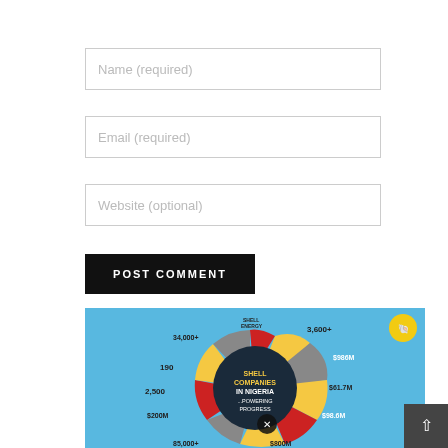[Figure (screenshot): Web form input field for Name (required), shown as a bordered rectangle with placeholder text]
[Figure (screenshot): Web form input field for Email (required), shown as a bordered rectangle with placeholder text]
[Figure (screenshot): Web form input field for Website (optional), shown as a bordered rectangle with placeholder text]
[Figure (screenshot): Black button labeled POST COMMENT]
[Figure (infographic): Shell Companies in Nigeria ...Powering Progress infographic showing a colorful wheel/pie chart with segments showing statistics: 3,600+, $986M, $61.7M, $98.6M, $800M, 85,000+, 1,000+, $200M, 2,500, 190, 34,000+. Shell logo in upper right. Close (x) button overlay visible.]